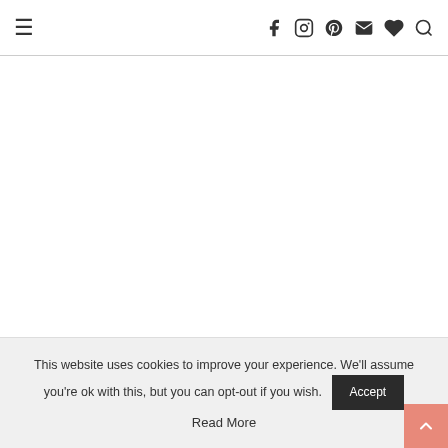Navigation header with hamburger menu and social icons (facebook, instagram, pinterest, email, heart, search)
[Figure (photo): Large hotel photo area (blank/white — image not loaded)]
Night time in the hotel is a romantic blend of candle lights
This website uses cookies to improve your experience. We'll assume you're ok with this, but you can opt-out if you wish. Accept Read More